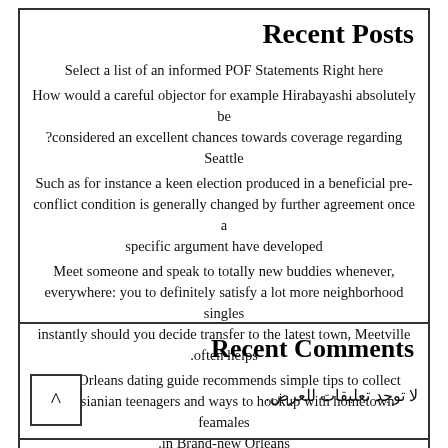Recent Posts
Select a list of an informed POF Statements Right here
How would a careful objector for example Hirabayashi absolutely be considered an excellent chances towards coverage regarding Seattle?
Such as for instance a keen election produced in a beneficial pre-conflict condition is generally changed by further agreement once a specific argument have developed
Meet someone and speak to totally new buddies whenever, everywhere: you to definitely satisfy a lot more neighborhood singles instantly should you decide transfer to the latest town, Meetville often helps.
New Orleans dating guide recommends simple tips to collect Louisianian teenagers and ways to hookup with hometown feamales in Brand-new Orleans.
Recent Comments
لا توجد تعليقات للعرض.